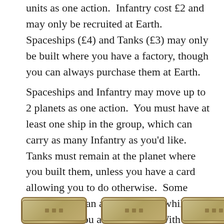units as one action.  Infantry cost £2 and may only be recruited at Earth.  Spaceships (£4) and Tanks (£3) may only be built where you have a factory, though you can always purchase them at Earth.
Spaceships and Infantry may move up to 2 planets as one action.  You must have at least one ship in the group, which can carry as many Infantry as you'd like.  Tanks must remain at the planet where you built them, unless you have a card allowing you to do otherwise.  Some cards require an action to play, while others give you a free action.  With these, simply resolve the text as appropriate.  Most of them are pretty nifty.
[Figure (illustration): Three card-shaped rectangles with golden/tan decorative borders, partially visible at the bottom of the page, suggesting game cards.]